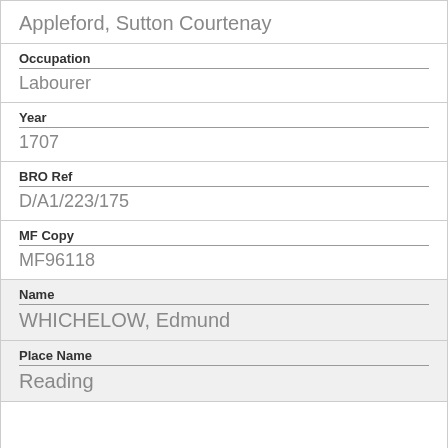Appleford, Sutton Courtenay
Occupation
Labourer
Year
1707
BRO Ref
D/A1/223/175
MF Copy
MF96118
Name
WHICHELOW, Edmund
Place Name
Reading